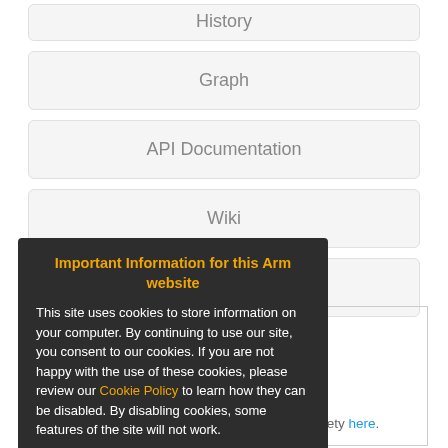History
Graph
API Documentation
Wiki
Pull Requests
...ries
...e library. For mbed OS 5, lwip ...in networking interfaces. ...e been revised to better support additional network stacks and thread safety here.
Important Information for this Arm website

This site uses cookies to store information on your computer. By continuing to use our site, you consent to our cookies. If you are not happy with the use of these cookies, please review our Cookie Policy to learn how they can be disabled. By disabling cookies, some features of the site will not work.

Accept and hide this message